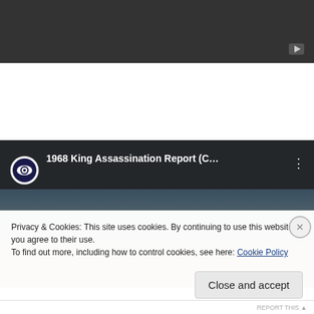[Figure (screenshot): Dark video player area at top of page with YouTube logo/play button icon in bottom right corner]
[Figure (screenshot): YouTube embedded video showing CBS logo and title '1968 King Assassination Report (C...' with three-dot menu, partially overlaid with a person's head/face]
Privacy & Cookies: This site uses cookies. By continuing to use this website, you agree to their use.
To find out more, including how to control cookies, see here: Cookie Policy
Close and accept